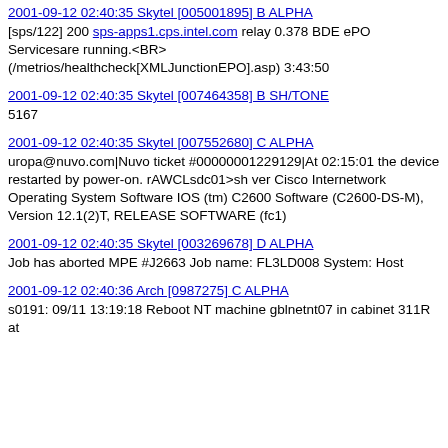2001-09-12 02:40:35 Skytel [005001895] B ALPHA
[sps/122] 200 sps-apps1.cps.intel.com relay 0.378 BDE ePO Servicesare running.<BR>(/metrios/healthcheck[XMLJunctionEPO].asp) 3:43:50
2001-09-12 02:40:35 Skytel [007464358] B SH/TONE
5167
2001-09-12 02:40:35 Skytel [007552680] C ALPHA
uropa@nuvo.com|Nuvo ticket #00000001229129|At 02:15:01 the device restarted by power-on. rAWCLsdc01>sh ver Cisco Internetwork Operating System Software IOS (tm) C2600 Software (C2600-DS-M), Version 12.1(2)T, RELEASE SOFTWARE (fc1)
2001-09-12 02:40:35 Skytel [003269678] D ALPHA
Job has aborted MPE #J2663 Job name: FL3LD008 System: Host
2001-09-12 02:40:36 Arch [0987275] C ALPHA
s0191: 09/11 13:19:18 Reboot NT machine gblnetnt07 in cabinet 311R at